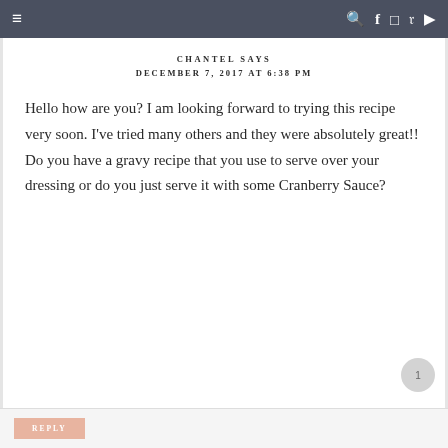≡   🔍 f 📷 𝗽 ▶
CHANTEL SAYS
DECEMBER 7, 2017 AT 6:38 PM
Hello how are you? I am looking forward to trying this recipe very soon. I've tried many others and they were absolutely great!! Do you have a gravy recipe that you use to serve over your dressing or do you just serve it with some Cranberry Sauce?
REPLY